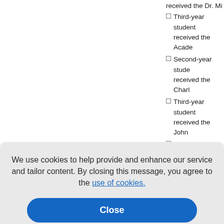received the Dr. Mi...
Third-year student ... received the Acade...
Second-year stude... received the Charl...
Third-year student ... received the John ...
Fourth-year studen... received the David...
r student... he Charl...
student ... y Zahradh...
r student... he Lynn ...
Fourth-year studen...
We use cookies to help provide and enhance our service and tailor content. By closing this message, you agree to the use of cookies.